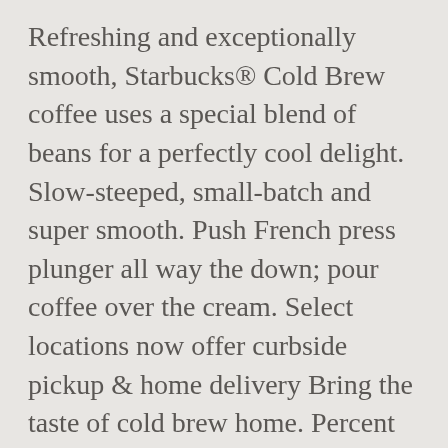Refreshing and exceptionally smooth, Starbucks® Cold Brew coffee uses a special blend of beans for a perfectly cool delight. Slow-steeped, small-batch and super smooth. Push French press plunger all way the down; pour coffee over the cream. Select locations now offer curbside pickup & home delivery Bring the taste of cold brew home. Percent Daily Values are based on a 2,000 calorie diet. Nitro Cold Brew with Cinnamon Almondmilk ... Just mix Cold Brew Concentrates with water and ice for a taste that's smooth, delicious and perfectly yours. Request that ... To serve, fill a glass with ice and fill it halfway with water. 3 cups (24oz) water; 1½ cups (4.5oz) coarsely ground coffee: You can make cold brew coffee...